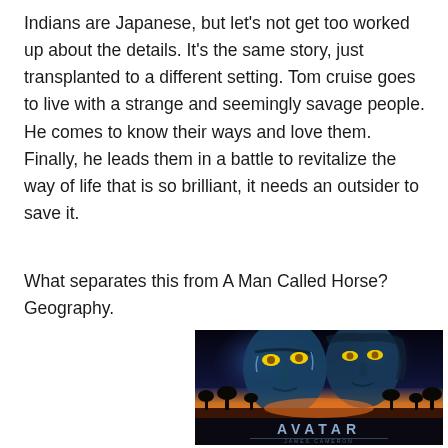Indians are Japanese, but let's not get too worked up about the details. It's the same story, just transplanted to a different setting. Tom cruise goes to live with a strange and seemingly savage people. He comes to know their ways and love them. Finally, he leads them in a battle to revitalize the way of life that is so brilliant, it needs an outsider to save it.
What separates this from A Man Called Horse? Geography.
[Figure (photo): Avatar movie poster showing two blue Na'vi characters (a male and female) with glowing yellow eyes against a dark background, with a landscape scene below showing silhouetted trees and a sunset. The word AVATAR appears at the bottom in large letters.]